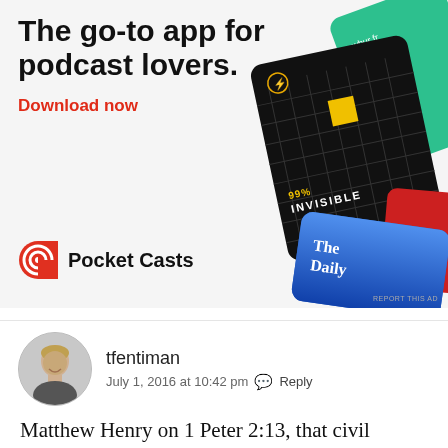[Figure (illustration): Pocket Casts advertisement: 'The go-to app for podcast lovers.' with Download now CTA in red, Pocket Casts logo, and phone cards showing podcast apps including 99% Invisible and The Daily.]
tfentiman
July 1, 2016 at 10:42 pm  Reply
Matthew Henry on 1 Peter 2:13, that civil government is an 'ordinance of man':